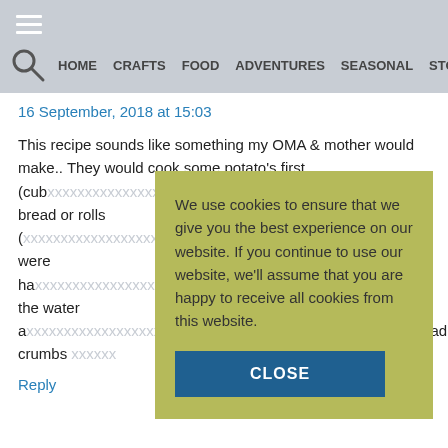HOME  CRAFTS  FOOD  ADVENTURES  SEASONAL  STORE
16 September, 2018 at 15:03
This recipe sounds like something my OMA & mother would make.. They would cook some potato's first (cub... f bread or rolls (... atoes were hal... into the water a... oread crumbs ...
Reply
We use cookies to ensure that we give you the best experience on our website. If you continue to use our website, we'll assume that you are happy to receive all cookies from this website.
CLOSE